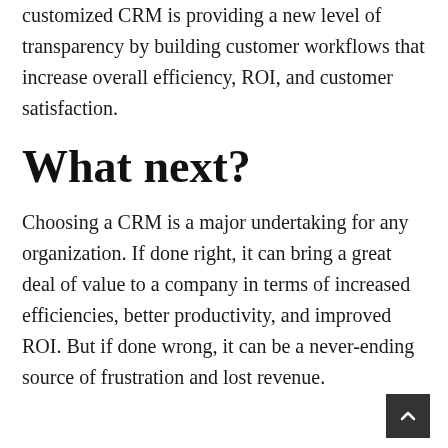This highlights the importance way our customized CRM is providing a new level of transparency by building customer workflows that increase overall efficiency, ROI, and customer satisfaction.
What next?
Choosing a CRM is a major undertaking for any organization. If done right, it can bring a great deal of value to a company in terms of increased efficiencies, better productivity, and improved ROI. But if done wrong, it can be a never-ending source of frustration and lost revenue.